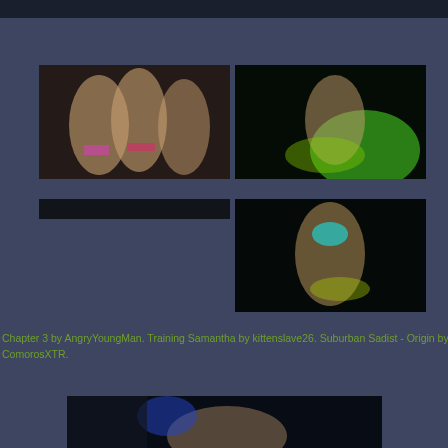[Figure (photo): Dark top navigation bar]
[Figure (photo): Group of women in bikinis under dim club lighting]
[Figure (photo): Woman dancing under green stage lighting]
[Figure (photo): Dark horizontal bar placeholder]
[Figure (photo): Woman dancing under teal/yellow stage lighting]
Chapter 3 by AngryYoungMan. Training Samantha by kittenslave26. Suburban Sadist - Origin by ComorosXTR.
[Figure (photo): Woman under blue stage lighting, partial view at bottom]